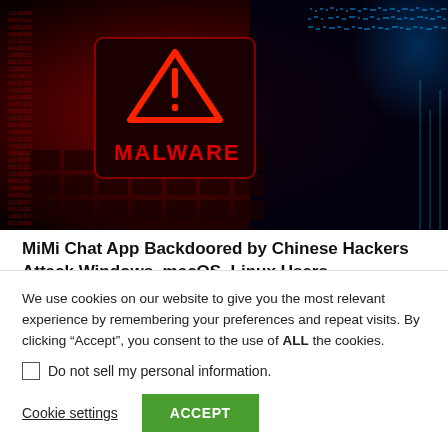[Figure (photo): Dark background photo showing a keyboard with a glowing red warning triangle with exclamation mark and the word MALWARE in red text. A digital world map is faintly visible in the upper right in blue tones.]
MiMi Chat App Backdoored by Chinese Hackers Attack Windows, macOS, Linux Users
August 15, 2022
We use cookies on our website to give you the most relevant experience by remembering your preferences and repeat visits. By clicking “Accept”, you consent to the use of ALL the cookies.
Do not sell my personal information.
Cookie settings
ACCEPT